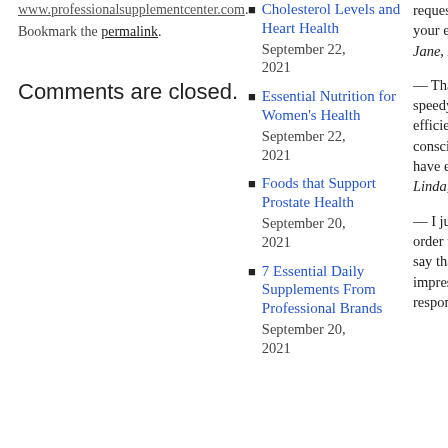www.professionalsupplementcenter.com. Bookmark the permalink.
Comments are closed.
Cholesterol Levels and Heart Health — September 22, 2021
Essential Nutrition for Women's Health — September 22, 2021
Foods that Support Prostate Health — September 20, 2021
7 Essential Daily Supplements From Professional Brands — September 20, 2021
requested. I appreciate your efforts. Jane, IL
— Thanks for being so speedy. You the most efficient and time conscious vendor that I have ever dealt with! Linda, NC
— I just placed my first order with you, and I must say that I am very impressed with your responsiveness AND your